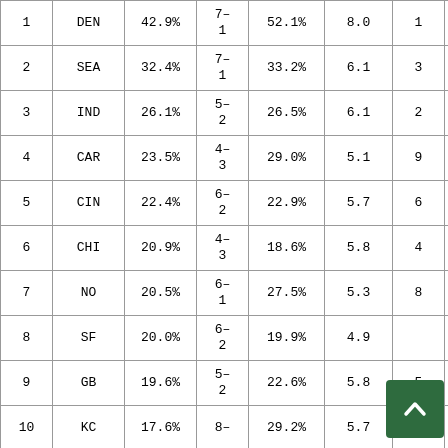|  | Team | Win% | Record | Cover% | Avg | Rank |  |
| --- | --- | --- | --- | --- | --- | --- | --- |
| 1 | DEN | 42.9% | 7-1 | 52.1% | 8.0 | 1 |  |
| 2 | SEA | 32.4% | 7-1 | 33.2% | 6.1 | 3 |  |
| 3 | IND | 26.1% | 5-2 | 26.5% | 6.1 | 2 |  |
| 4 | CAR | 23.5% | 4-3 | 29.0% | 5.1 | 9 |  |
| 5 | CIN | 22.4% | 6-2 | 22.9% | 5.7 | 6 |  |
| 6 | CHI | 20.9% | 4-3 | 18.6% | 5.8 | 4 |  |
| 7 | NO | 20.5% | 6-1 | 27.5% | 5.3 | 8 |  |
| 8 | SF | 20.0% | 6-2 | 19.9% | 4.9 |  |  |
| 9 | GB | 19.6% | 5-2 | 22.6% | 5.8 | 5 |  |
| 10 | KC | 17.6% | 8- | 29.2% | 5.7 | 7 |  |